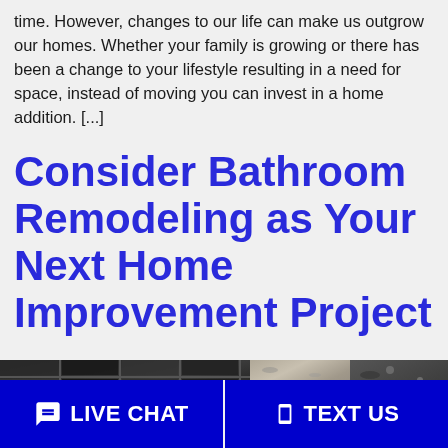time. However, changes to our life can make us outgrow our homes. Whether your family is growing or there has been a change to your lifestyle resulting in a need for space, instead of moving you can invest in a home addition. [...]
Consider Bathroom Remodeling as Your Next Home Improvement Project
[Figure (photo): Close-up photo of dark square tiles and stone/granite material samples for bathroom remodeling]
LIVE CHAT
TEXT US